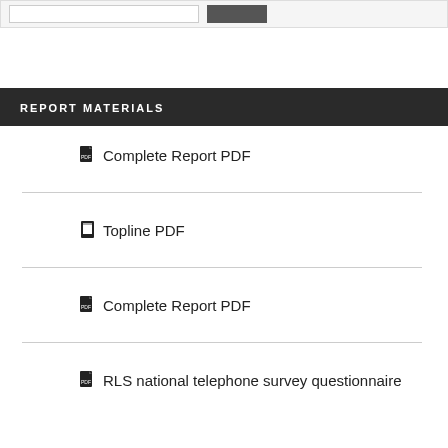REPORT MATERIALS
Complete Report PDF
Topline PDF
Complete Report PDF
RLS national telephone survey questionnaire